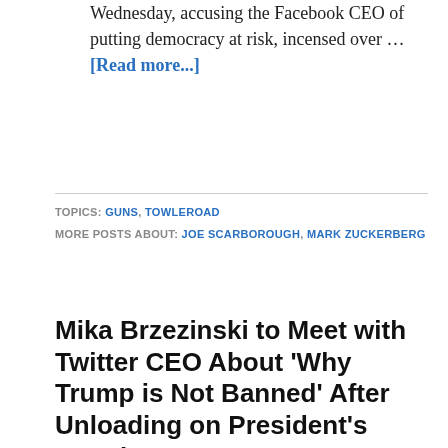Wednesday, accusing the Facebook CEO of putting democracy at risk, incensed over … [Read more...]
TOPICS: GUNS, TOWLEROAD
MORE POSTS ABOUT: JOE SCARBOROUGH, MARK ZUCKERBERG
Mika Brzezinski to Meet with Twitter CEO About 'Why Trump is Not Banned' After Unloading on President's Attacks: WATCH
Andy Towle May 20, 2020 — 22